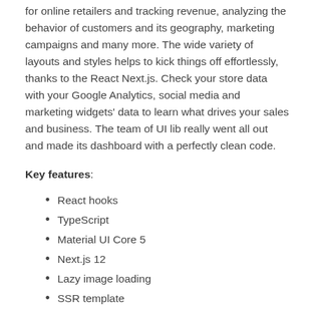for online retailers and tracking revenue, analyzing the behavior of customers and its geography, marketing campaigns and many more. The wide variety of layouts and styles helps to kick things off effortlessly, thanks to the React Next.js. Check your store data with your Google Analytics, social media and marketing widgets' data to learn what drives your sales and business. The team of UI lib really went all out and made its dashboard with a perfectly clean code.
Key features:
React hooks
TypeScript
Material UI Core 5
Next.js 12
Lazy image loading
SSR template
Clean Code